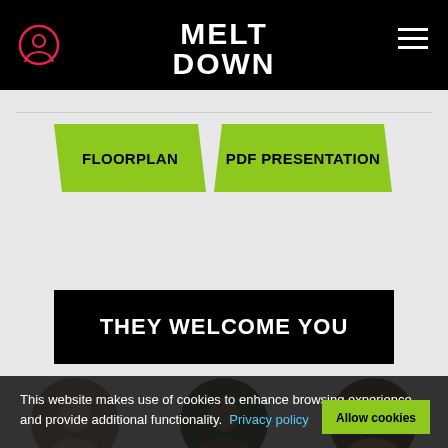MELT DOWN
FLOORPLAN   PDF PRESENTATION
THEY WELCOME YOU
[Figure (photo): Circular profile photo of BENOIT]
BENOIT
[Figure (photo): Circular profile photo of NICOLAS]
NICOLAS
[Figure (photo): Circular profile photo of AYMERIC]
AYMERIC
This website makes use of cookies to enhance browsing experience and provide additional functionality. Privacy policy Allow cookies